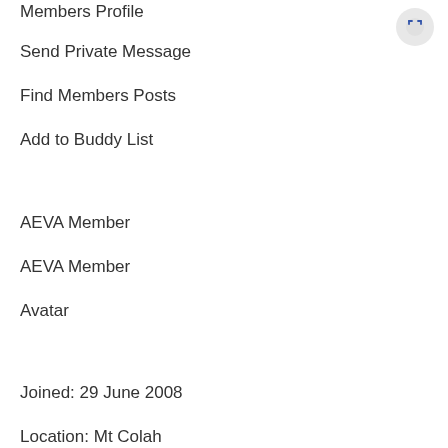Members Profile
Send Private Message
Find Members Posts
Add to Buddy List
AEVA Member
AEVA Member
Avatar
Joined: 29 June 2008
Location: Mt Colah
Online Status: Online